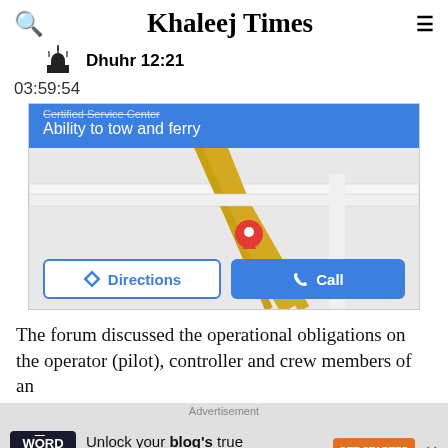Khaleej Times
Dhuhr 12:21
03:59:54
[Figure (screenshot): Google Maps screenshot showing a location pin with blue banner text 'Ability to tow and ferry' and buttons for Directions and Call]
The forum discussed the operational obligations on the operator (pilot), controller and crew members of an
Advertisement
[Figure (infographic): Advertisement banner: Word Monetize logo, text 'Unlock your blog's true revenue potential', GET STARTED button]